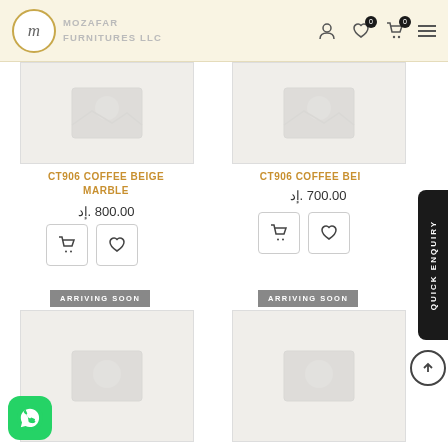Mozafar Furnitures LLC — navigation header with logo, user, wishlist, cart, and menu icons
[Figure (photo): Product image placeholder for CT906 Coffee Beige Marble (left card)]
[Figure (photo): Product image placeholder for CT906 Coffee Beige (right card, partially visible)]
CT906 COFFEE BEIGE MARBLE
د.إ800.00
CT906 COFFEE BEIGE
د.إ700.00
ARRIVING SOON
ARRIVING SOON
[Figure (photo): Product image placeholder bottom-left with ARRIVING SOON badge]
[Figure (photo): Product image placeholder bottom-right with ARRIVING SOON badge]